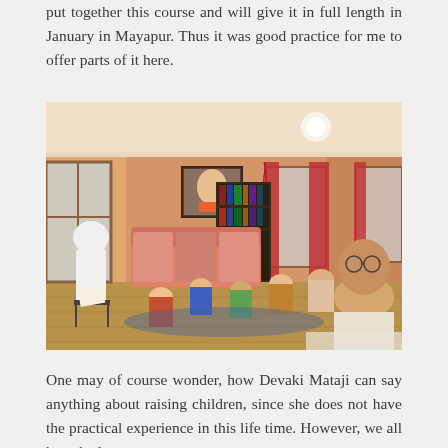put together this course and will give it in full length in January in Mayapur. Thus it was good practice for me to offer parts of it here.
[Figure (photo): Indoor classroom scene in a warm orange-walled room with wooden floors. A teacher in white sits on a chair on the left, facing a group of students seated on sofas and on the floor. Red curtains on windows, a bookshelf in the background, and a portrait on the wall.]
One may of course wonder, how Devaki Mataji can say anything about raising children, since she does not have the practical experience in this life time. However, we all have had a